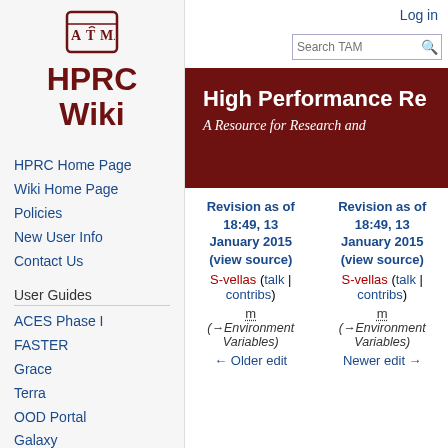[Figure (logo): Texas A&M University HPRC Wiki logo with ATM shield and HPRC Wiki text in dark red]
HPRC Wiki
HPRC Home Page
Wiki Home Page
Policies
New User Info
Contact Us
User Guides
ACES Phase I
FASTER
Grace
Terra
OOD Portal
Galaxy
Log in
High Performance Re…
A Resource for Research and…
Revision as of 18:49, 13 January 2015 (view source)
S-vellas (talk | contribs)
m
(→Environment Variables)
← Older edit
Revision as of 18:49, 13 January 2015 (view source)
S-vellas (talk | contribs)
m
(→Environment Variables)
Newer edit →